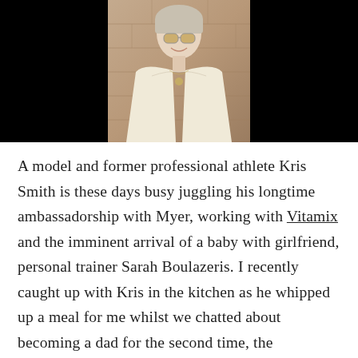[Figure (photo): A woman with sunglasses and long light-colored hair, smiling, wearing a cream/ivory sweater, standing in front of a stone wall background. Black bars on left and right sides of the image.]
A model and former professional athlete Kris Smith is these days busy juggling his longtime ambassadorship with Myer, working with Vitamix and the imminent arrival of a baby with girlfriend, personal trainer Sarah Boulazeris. I recently caught up with Kris in the kitchen as he whipped up a meal for me whilst we chatted about becoming a dad for the second time, the unconventional way he and Sarah got together and why